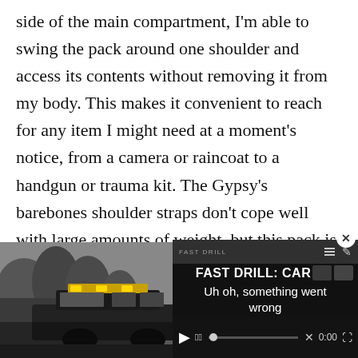side of the main compartment, I'm able to swing the pack around one shoulder and access its contents without removing it from my body. This makes it convenient to reach for any item I might need at a moment's notice, from a camera or raincoat to a handgun or trauma kit. The Gypsy's barebones shoulder straps don't cope well with large amounts of weight, but this pack is a great choice for casual urban EDC, especially if you want to blend in at the nearest downtown coffee shop.
[Figure (photo): Black and white photo of a vehicle (appears to be a police or tactical car) with a yellow light bar on top, parked near trees]
[Figure (screenshot): Video player overlay showing 'FAST DRILL: CAR' title with an error message 'Uh oh, something went wrong', video controls including play button, mute, progress bar with X mark, 0:00 timestamp, and fullscreen button. Close (x) button in top right corner.]